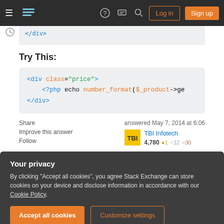[Figure (screenshot): Stack Overflow navigation bar with hamburger menu, logo, question mark icon, comment icon, search icon, Log in button, and Sign up button]
</div>
Try This:
<div class="price">
    <?php echo number_format($_product->ge
</div>
Share
Improve this answer
Follow
answered May 7, 2014 at 6:06
TBI Infotech
4,780 ○1 ○12 ○30
Your privacy
By clicking "Accept all cookies", you agree Stack Exchange can store cookies on your device and disclose information in accordance with our Cookie Policy.
Accept all cookies
Customize settings